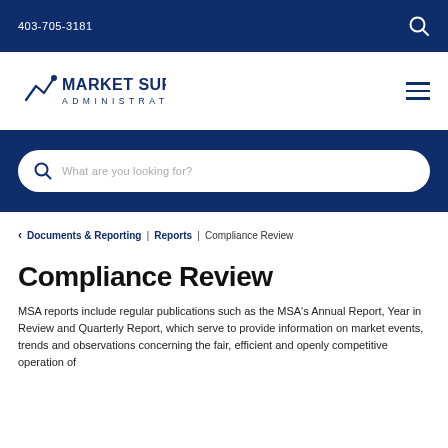403-705-3181
[Figure (logo): Market Surveillance Administrator logo with stylized line graph and text]
What are you looking for?
< Documents & Reporting | Reports | Compliance Review
Compliance Review
MSA reports include regular publications such as the MSA's Annual Report, Year in Review and Quarterly Report, which serve to provide information on market events, trends and observations concerning the fair, efficient and openly competitive operation of